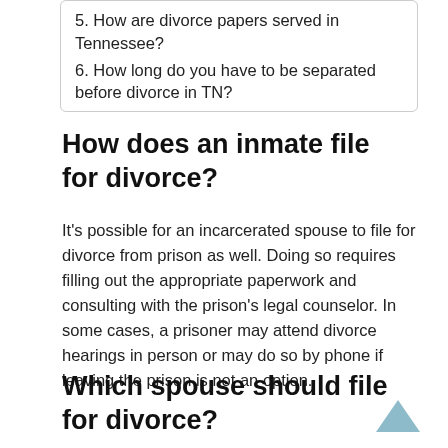5. How are divorce papers served in Tennessee?
6. How long do you have to be separated before divorce in TN?
How does an inmate file for divorce?
It's possible for an incarcerated spouse to file for divorce from prison as well. Doing so requires filling out the appropriate paperwork and consulting with the prison's legal counselor. In some cases, a prisoner may attend divorce hearings in person or may do so by phone if leaving the prison is not an option.
Which spouse should file for divorce?